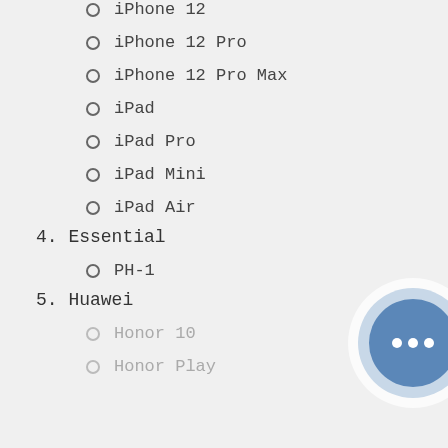iPhone 12
iPhone 12 Pro
iPhone 12 Pro Max
iPad
iPad Pro
iPad Mini
iPad Air
4. Essential
PH-1
5. Huawei
Honor 10
Honor Play